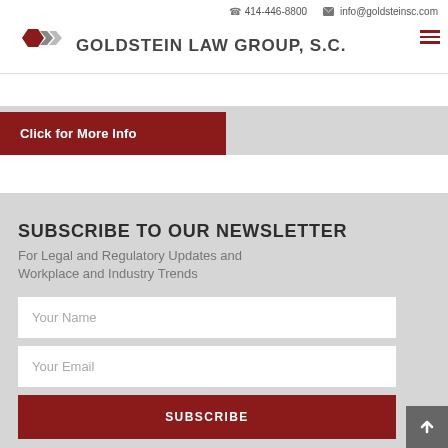414-446-8800   info@goldsteinsc.com
[Figure (logo): Goldstein Law Group, S.C. logo with hexagon and chevron shapes in dark red and gray]
Click for More Info
SUBSCRIBE TO OUR NEWSLETTER
For Legal and Regulatory Updates and Workplace and Industry Trends
Your Name
Your Email
SUBSCRIBE